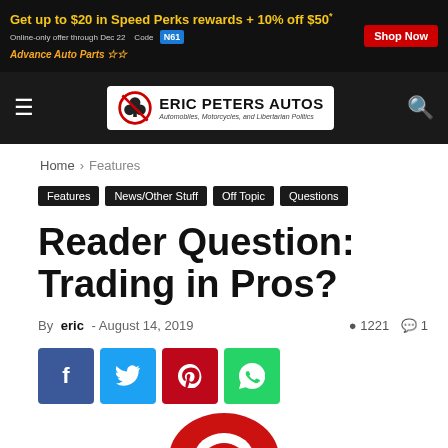[Figure (screenshot): Advance Auto Parts advertisement banner: 'Get up to $20 in Speed Perks rewards + 10% off $50*', with Shop Now button and code N61]
[Figure (logo): Eric Peters Autos navigation bar with logo: shamrock with no symbol, site name 'ERIC PETERS AUTOS', subtitle 'Automobiles, Motorcycles, and Libertarian Politics', hamburger menu and search icon]
Home › Features
Features  News/Other Stuff  Off Topic  Questions
Reader Question: Trading in Pros?
By eric - August 14, 2019  ● 1221  💬 1
[Figure (screenshot): Social sharing buttons: Facebook (blue), Twitter (light blue), Pinterest (red), WhatsApp (green)]
[Figure (photo): Partial image at bottom showing a red circular object, likely a car part or logo]